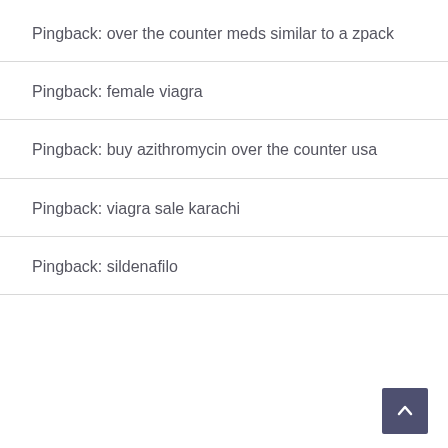Pingback: over the counter meds similar to a zpack
Pingback: female viagra
Pingback: buy azithromycin over the counter usa
Pingback: viagra sale karachi
Pingback: sildenafilo